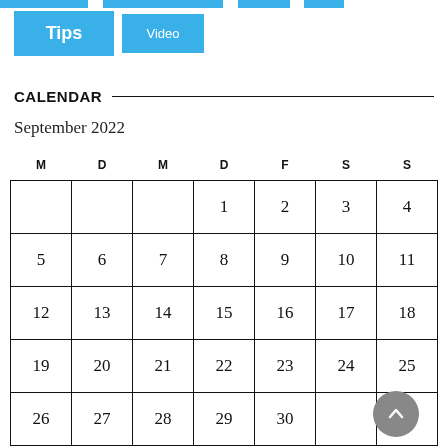[Figure (other): Navigation bar with blue button tabs at top]
Tips
Video
CALENDAR
September 2022
| M | D | M | D | F | S | S |
| --- | --- | --- | --- | --- | --- | --- |
|  |  |  | 1 | 2 | 3 | 4 |
| 5 | 6 | 7 | 8 | 9 | 10 | 11 |
| 12 | 13 | 14 | 15 | 16 | 17 | 18 |
| 19 | 20 | 21 | 22 | 23 | 24 | 25 |
| 26 | 27 | 28 | 29 | 30 |  |  |